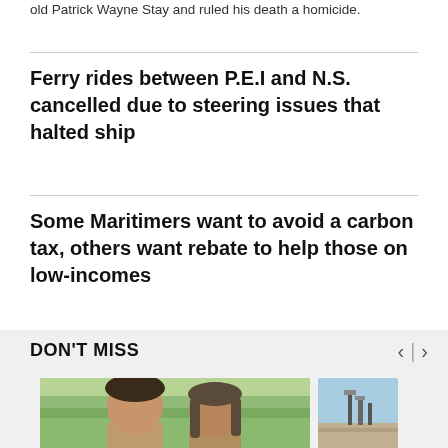old Patrick Wayne Stay and ruled his death a homicide.
Ferry rides between P.E.I and N.S. cancelled due to steering issues that halted ship
Some Maritimers want to avoid a carbon tax, others want rebate to help those on low-incomes
DON'T MISS
[Figure (photo): Two young men smiling outdoors with green hills in background]
[Figure (photo): Industrial or harbour scene with structures visible against blue sky]